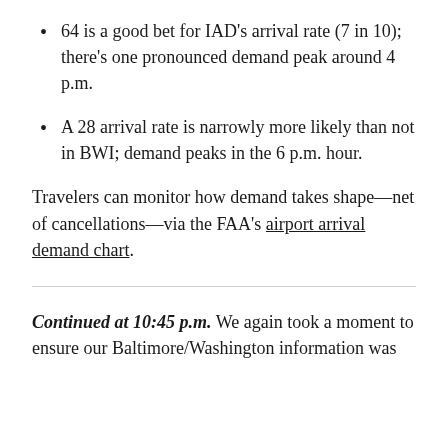64 is a good bet for IAD's arrival rate (7 in 10); there's one pronounced demand peak around 4 p.m.
A 28 arrival rate is narrowly more likely than not in BWI; demand peaks in the 6 p.m. hour.
Travelers can monitor how demand takes shape—net of cancellations—via the FAA's airport arrival demand chart.
Continued at 10:45 p.m. We again took a moment to ensure our Baltimore/Washington information was